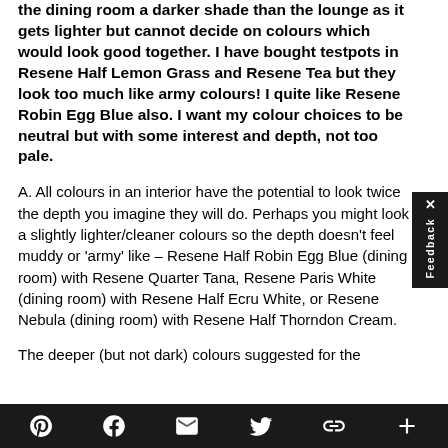the dining room a darker shade than the lounge as it gets lighter but cannot decide on colours which would look good together. I have bought testpots in Resene Half Lemon Grass and Resene Tea but they look too much like army colours! I quite like Resene Robin Egg Blue also. I want my colour choices to be neutral but with some interest and depth, not too pale.
A. All colours in an interior have the potential to look twice the depth you imagine they will do. Perhaps you might look a slightly lighter/cleaner colours so the depth doesn't feel muddy or 'army' like – Resene Half Robin Egg Blue (dining room) with Resene Quarter Tana, Resene Paris White (dining room) with Resene Half Ecru White, or Resene Nebula (dining room) with Resene Half Thorndon Cream.
The deeper (but not dark) colours suggested for the
Pinterest | Facebook | Email | Twitter | Link | +